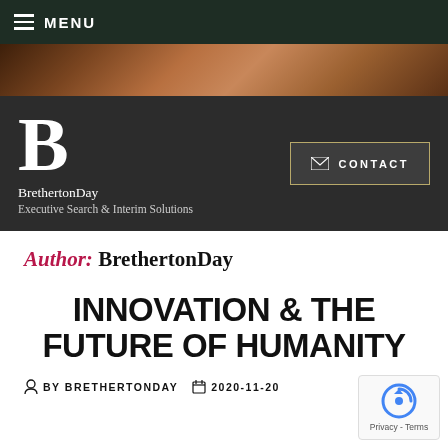MENU
[Figure (photo): Hero image with earthy brown/terracotta tones]
[Figure (logo): BrethertonDay logo — large serif B with company name and tagline]
Author: BrethertonDay
INNOVATION & THE FUTURE OF HUMANITY
BY BRETHERTONDAY   2020-11-20